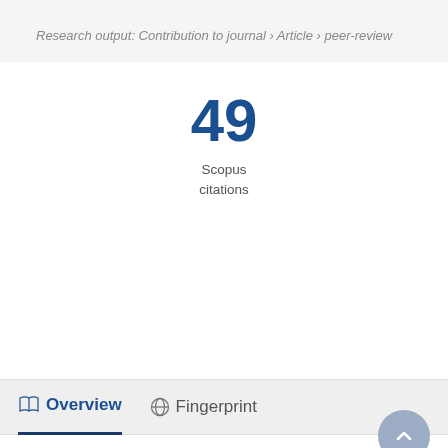Research output: Contribution to journal › Article › peer-review
49
Scopus citations
Overview
Fingerprint
Abstract